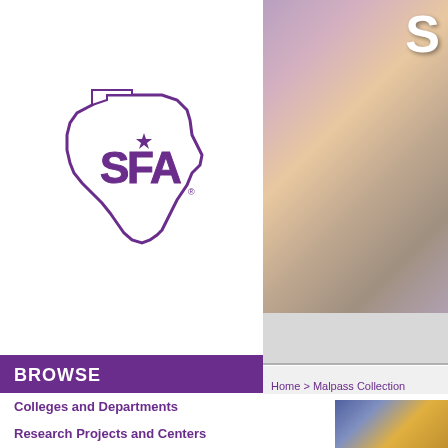[Figure (logo): SFA (Stephen F. Austin State University) logo — bold purple letters S, F, A overlaid on an outline of the state of Texas with a star, with a registered trademark symbol]
BROWSE
Colleges and Departments
Research Projects and Centers
Discipline
[Figure (photo): Photograph of a building entrance with glass doors, a white column, and purple/orange interior lighting, with a large white letter S visible]
Home > Malpass Collection
[Figure (photo): Partial photograph showing a person with gray/white hair in a colorful environment]